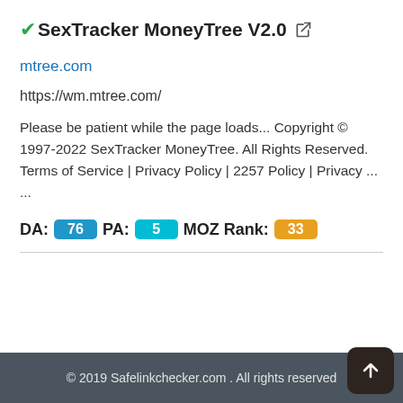✓SexTracker MoneyTree V2.0 🔗
mtree.com
https://wm.mtree.com/
Please be patient while the page loads... Copyright © 1997-2022 SexTracker MoneyTree. All Rights Reserved. Terms of Service | Privacy Policy | 2257 Policy | Privacy ...
DA: 76  PA: 5  MOZ Rank: 33
© 2019 Safelinkchecker.com . All rights reserved